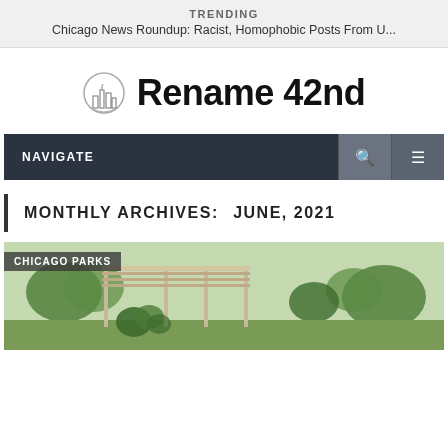TRENDING
Chicago News Roundup: Racist, Homophobic Posts From U...
[Figure (logo): Rename 42nd logo with city skyline icon and bold text]
NAVIGATE
MONTHLY ARCHIVES: JUNE, 2021
[Figure (photo): Chicago park photo with wooden pergola structure and trees, tagged CHICAGO PARKS]